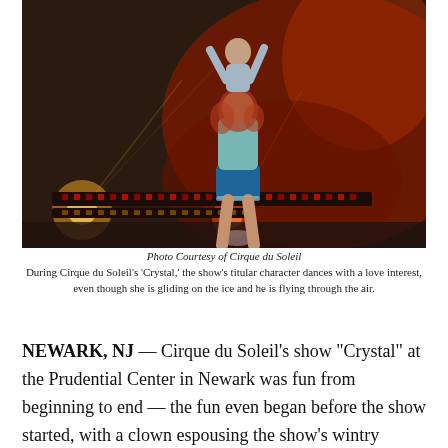[Figure (photo): Cirque du Soleil Crystal performance photo showing a female performer in a blue costume being lifted while balancing another performer above her head, with dramatic stage lighting and red backdrop.]
Photo Courtesy of Cirque du Soleil
During Cirque du Soleil’s ‘Crystal,’ the show’s titular character dances with a love interest, even though she is gliding on the ice and he is flying through the air.
NEWARK, NJ — Cirque du Soleil’s show “Crystal” at the Prudential Center in Newark was fun from beginning to end — the fun even began before the show started, with a clown espousing the show’s wintry theme and starting snowball fights with audience members.